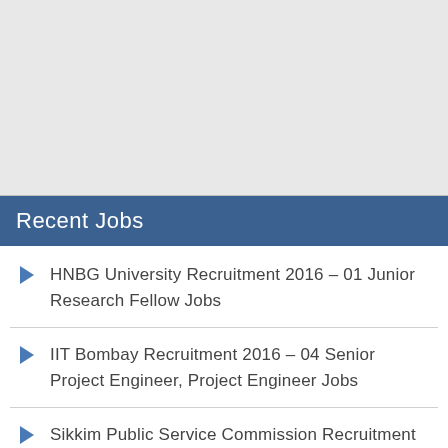Recent Jobs
HNBG University Recruitment 2016 – 01 Junior Research Fellow Jobs
IIT Bombay Recruitment 2016 – 04 Senior Project Engineer, Project Engineer Jobs
Sikkim Public Service Commission Recruitment 2016 Apply 104 Junior Engineer Jobs
Central University of Punjab Recruitment 2016 – Junior